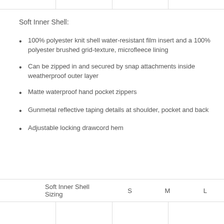Soft Inner Shell:
100% polyester knit shell water-resistant film insert and a 100% polyester brushed grid-texture, microfleece lining
Can be zipped in and secured by snap attachments inside weatherproof outer layer
Matte waterproof hand pocket zippers
Gunmetal reflective taping details at shoulder, pocket and back
Adjustable locking drawcord hem
| Soft Inner Shell Sizing | S | M | L |
| --- | --- | --- | --- |